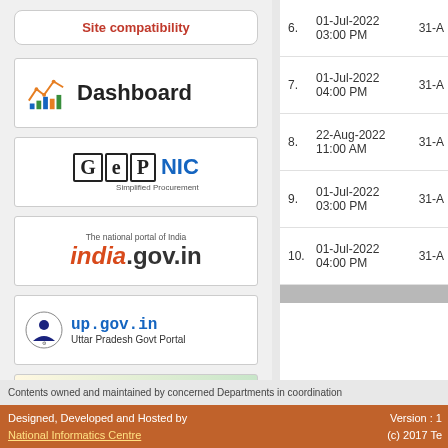Site compatibility
[Figure (logo): Dashboard logo with chart/graph icon and bold text 'Dashboard']
[Figure (logo): GeP NIC - Simplified Procurement logo]
[Figure (logo): india.gov.in - The national portal of India]
[Figure (logo): up.gov.in - Uttar Pradesh Govt Portal with emblem]
[Figure (logo): Government of India Central Public Procurement Portal]
| # | Start Date | End Date |
| --- | --- | --- |
| 6. | 01-Jul-2022 03:00 PM | 31-A |
| 7. | 01-Jul-2022 04:00 PM | 31-A |
| 8. | 22-Aug-2022 11:00 AM | 31-A |
| 9. | 01-Jul-2022 03:00 PM | 31-A |
| 10. | 01-Jul-2022 04:00 PM | 31-A |
Contents owned and maintained by concerned Departments in coordination
Designed, Developed and Hosted by National Informatics Centre | Version : 1 | (c) 2017 Te | Site best vi